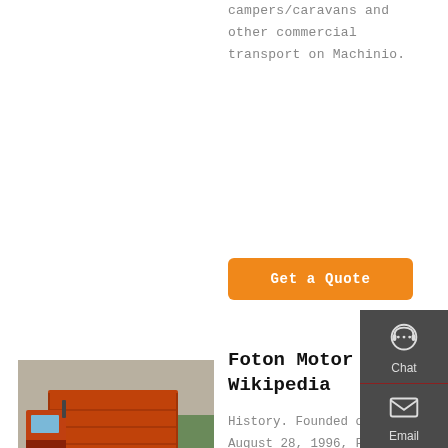campers/caravans and other commercial transport on Machinio.
Get a Quote
[Figure (photo): Red Foton dump truck parked outdoors]
Foton Motor Wikipedia
History. Founded on August 28, 1996, Foton manufactures light and heavy-duty trucks, agricultural tractors and various other machinery. In addition